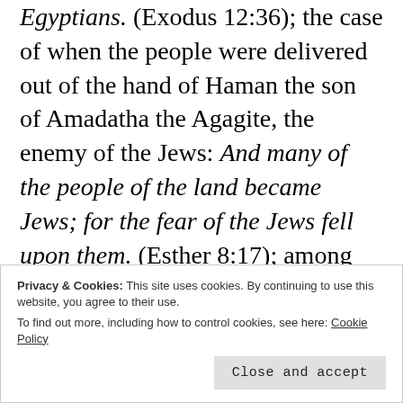Egyptians. (Exodus 12:36); the case of when the people were delivered out of the hand of Haman the son of Amadatha the Agagite, the enemy of the Jews: And many of the people of the land became Jews; for the fear of the Jews fell upon them. (Esther 8:17); among many other cases, they illustrate this characteristic of liberation, fruit of a “visitation” of God.
Th… (partial, cut off)
Privacy & Cookies: This site uses cookies. By continuing to use this website, you agree to their use.
To find out more, including how to control cookies, see here: Cookie Policy
Close and accept